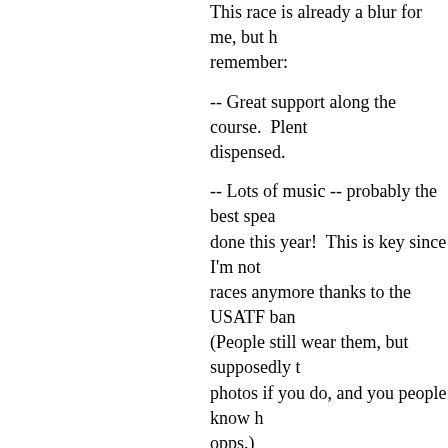This race is already a blur for me, but here's what I remember:
-- Great support along the course.  Plenty of [something] dispensed.
-- Lots of music -- probably the best speaker setup done this year!  This is key since I'm not allowed headphones at races anymore thanks to the USATF ban on headphones. (People still wear them, but supposedly they won't take your photos if you do, and you people know how I feel about photo opps.)
-- Seeing a whole crowd of runners do th[e YMCA dance as] they ran and the Village People song pla[yed].
-- Having my name printed on my bib so [that] strangers could cheer for me.
-- Having someone I actually know see m[e run]. Thanks, Lisa M!
-- Feeling good and strong the entire wa[y to] the finish line.
-- Moseying my way thorough the post-ra[ce area and] loving the fact that we're not being corral[led].